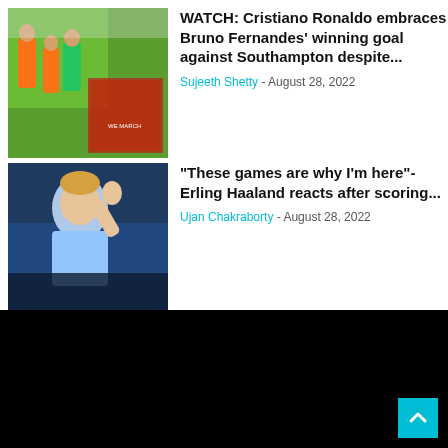[Figure (photo): Photo of Cristiano Ronaldo embracing Bruno Fernandes, soccer players in orange/green kits with a crowd in background]
WATCH: Cristiano Ronaldo embraces Bruno Fernandes' winning goal against Southampton despite...
Sujeeth Shetty - August 28, 2022
[Figure (photo): Photo of Erling Haaland in a light blue Manchester City kit waving to the crowd]
“These games are why I’m here”- Erling Haaland reacts after scoring...
Ujan Chakraborty - August 28, 2022